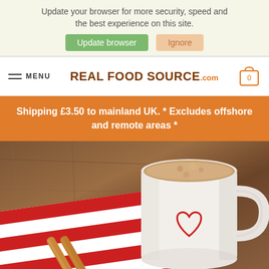Update your browser for more security, speed and the best experience on this site.
Update browser | Ignore
MENU | REAL FOOD SOURCE.com | 0
Shipping £3.50 to mainland UK. * Excludes offshore and remote areas *
[Figure (photo): A white mug with a red heart design filled with a frothy hot drink, placed on a red and white striped cloth with cinnamon sticks beside it on a wooden table]